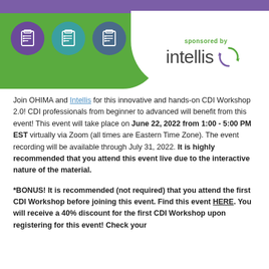[Figure (illustration): Banner with purple top bar, green section with three clipboard icons in colored circles (purple, teal, slate blue), and white area showing 'sponsored by intellis' logo with circular green/purple arrow graphic]
Join OHIMA and Intellis for this innovative and hands-on CDI Workshop 2.0!  CDI professionals from beginner to advanced will benefit from this event!  This event will take place on June 22, 2022 from 1:00 - 5:00 PM EST virtually via Zoom (all times are Eastern Time Zone). The event recording will be available through July 31, 2022. It is highly recommended that you attend this event live due to the interactive nature of the material.
*BONUS!  It is recommended (not required) that you attend the first CDI Workshop before joining this event. Find this event HERE. You will receive a 40% discount for the first CDI Workshop upon registering for this event! Check your